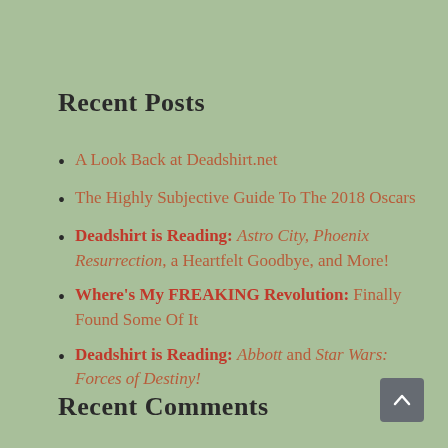Recent Posts
A Look Back at Deadshirt.net
The Highly Subjective Guide To The 2018 Oscars
Deadshirt is Reading: Astro City, Phoenix Resurrection, a Heartfelt Goodbye, and More!
Where's My FREAKING Revolution: Finally Found Some Of It
Deadshirt is Reading: Abbott and Star Wars: Forces of Destiny!
Recent Comments